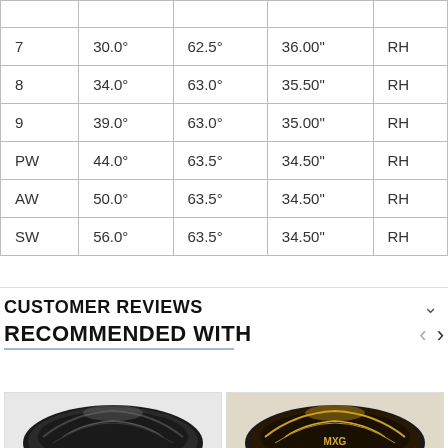|  |  |  |  |  |
| --- | --- | --- | --- | --- |
| 7 | 30.0° | 62.5° | 36.00" | RH |
| 8 | 34.0° | 63.0° | 35.50" | RH |
| 9 | 39.0° | 63.0° | 35.00" | RH |
| PW | 44.0° | 63.5° | 34.50" | RH |
| AW | 50.0° | 63.5° | 34.50" | RH |
| SW | 56.0° | 63.5° | 34.50" | RH |
CUSTOMER REVIEWS
RECOMMENDED WITH
[Figure (photo): Golf club head product photo 1]
[Figure (photo): Golf club head product photo 2]